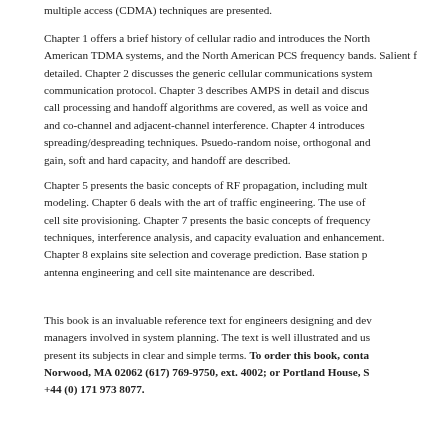multiple access (CDMA) techniques are presented.
Chapter 1 offers a brief history of cellular radio and introduces the North American TDMA systems, and the North American PCS frequency bands. Salient features are detailed. Chapter 2 discusses the generic cellular communications system and communication protocol. Chapter 3 describes AMPS in detail and discusses AMPS call processing and handoff algorithms are covered, as well as voice and co-channel and adjacent-channel interference. Chapter 4 introduces spreading/despreading techniques. Psuedo-random noise, orthogonal and gain, soft and hard capacity, and handoff are described.
Chapter 5 presents the basic concepts of RF propagation, including multi-path modeling. Chapter 6 deals with the art of traffic engineering. The use of cell site provisioning. Chapter 7 presents the basic concepts of frequency techniques, interference analysis, and capacity evaluation and enhancement. Chapter 8 explains site selection and coverage prediction. Base station p antenna engineering and cell site maintenance are described.
This book is an invaluable reference text for engineers designing and dev managers involved in system planning. The text is well illustrated and us present its subjects in clear and simple terms. To order this book, conta Norwood, MA 02062 (617) 769-9750, ext. 4002; or Portland House, S +44 (0) 171 973 8077.